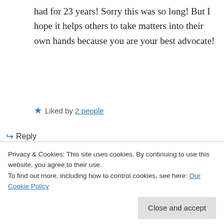had for 23 years! Sorry this was so long! But I hope it helps others to take matters into their own hands because you are your best advocate!
★ Liked by 2 people
↪ Reply
anchored2beautyblog on June 6, 2018 at 9:31 pm
This is very similar to what I have gone
Privacy & Cookies: This site uses cookies. By continuing to use this website, you agree to their use.
To find out more, including how to control cookies, see here: Our Cookie Policy
Close and accept
years old. My fertility doctor wants to just